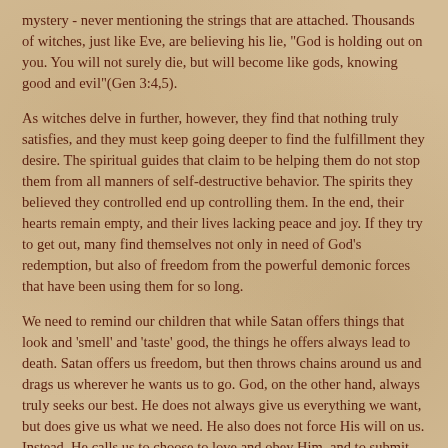mystery - never mentioning the strings that are attached. Thousands of witches, just like Eve, are believing his lie, "God is holding out on you. You will not surely die, but will become like gods, knowing good and evil"(Gen 3:4,5).
As witches delve in further, however, they find that nothing truly satisfies, and they must keep going deeper to find the fulfillment they desire. The spiritual guides that claim to be helping them do not stop them from all manners of self-destructive behavior. The spirits they believed they controlled end up controlling them. In the end, their hearts remain empty, and their lives lacking peace and joy. If they try to get out, many find themselves not only in need of God's redemption, but also of freedom from the powerful demonic forces that have been using them for so long.
We need to remind our children that while Satan offers things that look and 'smell' and 'taste' good, the things he offers always lead to death. Satan offers us freedom, but then throws chains around us and drags us wherever he wants us to go. God, on the other hand, always truly seeks our best. He does not always give us everything we want, but does give us what we need. He also does not force His will on us. Instead, He calls us to choose to love and obey Him, and to submit ourselves to Him. When we have put ourselves in His hands, He fills all our greatest needs. He frees us from the chains of sin, heals us, strengthens us, and then leads us into doing